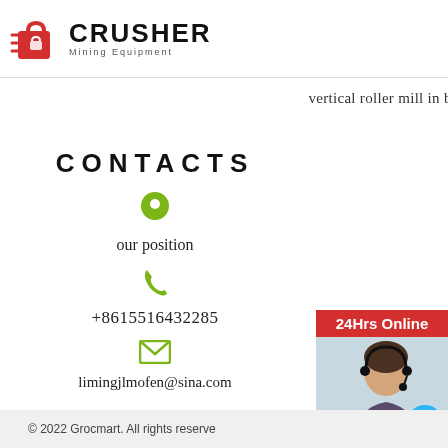[Figure (logo): Crusher Mining Equipment logo with red shopping bag icon and bold CRUSHER text]
vertical roller mill in belize
CONTACTS
[Figure (illustration): Green map pin / location icon]
our position
[Figure (illustration): Green phone handset icon]
+8615516432285
[Figure (illustration): Green envelope / mail icon]
limingjlmofen@sina.com
[Figure (illustration): Sidebar with 24Hrs Online header, photo of customer service representative with headset, Need & suggestions chat bubble, Chat Now button, Enquiry link, limingjlmofen@sina.com email]
© 2022 Grocmart. All rights reserved